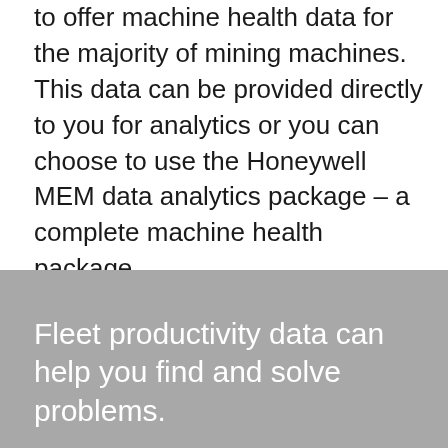to offer machine health data for the majority of mining machines. This data can be provided directly to you for analytics or you can choose to use the Honeywell MEM data analytics package – a complete machine health package.
Fleet productivity data can help you find and solve problems.